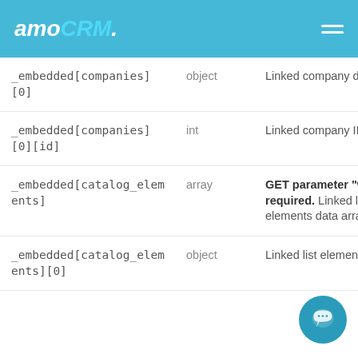amoCRM.
| Parameter | Type | Description |
| --- | --- | --- |
| _embedded[companies][0] | object | Linked company data |
| _embedded[companies][0][id] | int | Linked company ID |
| _embedded[catalog_elements] | array | GET parameter "with" is required. Linked lists' elements data array |
| _embedded[catalog_elements][0] | object | Linked list element |